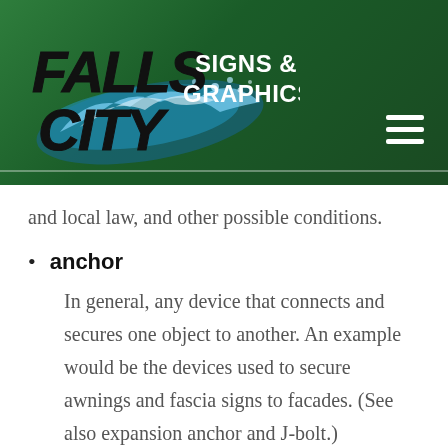[Figure (logo): Falls City Signs & Graphics logo with stylized water splash graphic and bold text on dark green gradient header background]
and local law, and other possible conditions.
anchor
In general, any device that connects and secures one object to another. An example would be the devices used to secure awnings and fascia signs to facades. (See also expansion anchor and J-bolt.)